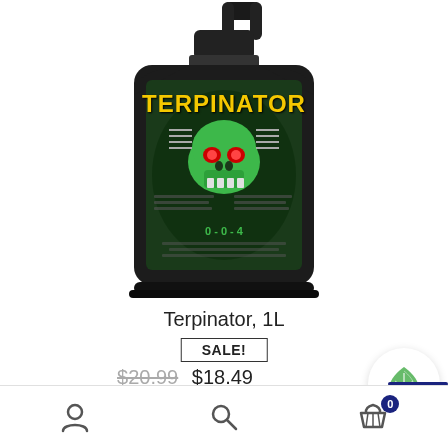[Figure (photo): A black 1-liter bottle of Terpinator plant supplement. The label features a green skull with glowing red eyes and the word TERPINATOR in yellow letters on a dark green background.]
Terpinator, 1L
SALE!
$20.99  $18.49
SKU: RZE10010